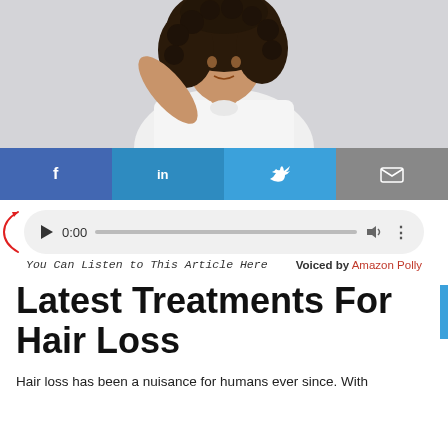[Figure (photo): Woman with curly hair wearing a white t-shirt, raising one arm, photographed against a light gray background.]
[Figure (infographic): Social share buttons: Facebook (f), LinkedIn (in), Twitter (bird icon), Email (envelope icon)]
[Figure (infographic): Audio player widget showing play button, time 0:00, progress bar, volume icon, and more options icon. Label: 'You Can Listen to This Article Here' and 'Voiced by Amazon Polly']
Latest Treatments For Hair Loss
Hair loss has been a nuisance for humans ever since. With